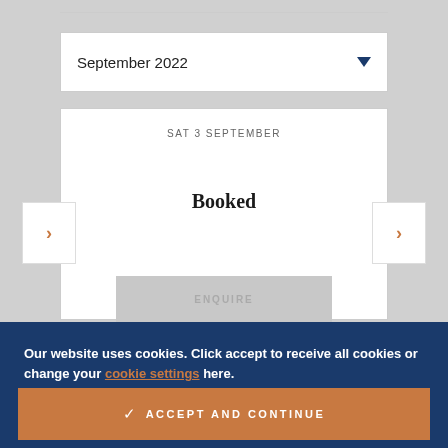September 2022
SAT 3 SEPTEMBER
Booked
ENQUIRE
Our website uses cookies. Click accept to receive all cookies or change your cookie settings here.
ACCEPT AND CONTINUE